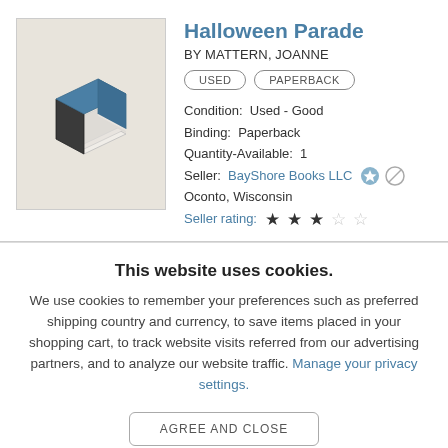[Figure (illustration): Isometric book illustration with blue cover on beige/tan background]
Halloween Parade
BY MATTERN, JOANNE
USED   PAPERBACK
Condition:  Used - Good
Binding:  Paperback
Quantity-Available:  1
Seller:  BayShore Books LLC
Oconto, Wisconsin
Seller rating: ★★★☆☆
This website uses cookies.
We use cookies to remember your preferences such as preferred shipping country and currency, to save items placed in your shopping cart, to track website visits referred from our advertising partners, and to analyze our website traffic. Manage your privacy settings.
AGREE AND CLOSE